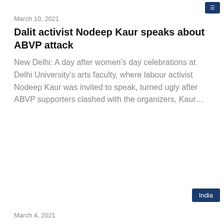March 10, 2021
Dalit activist Nodeep Kaur speaks about ABVP attack
New Delhi: A day after women’s day celebrations at Delhi University’s arts faculty, where labour activist Nodeep Kaur was invited to speak, turned ugly after ABVP supporters clashed with the organizers, Kaur…
India
March 4, 2021